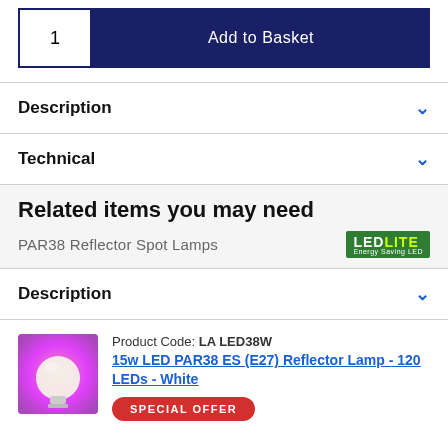1  Add to Basket
Description
Technical
Related items you may need
PAR38 Reflector Spot Lamps
[Figure (logo): LED Lite Energy Saving LED green badge logo]
Description
Product Code: LA LED38W
15w LED PAR38 ES (E27) Reflector Lamp - 120 LEDs - White
[Figure (photo): Photo of a PAR38 LED reflector lamp bulb on pink/purple background]
SPECIAL OFFER